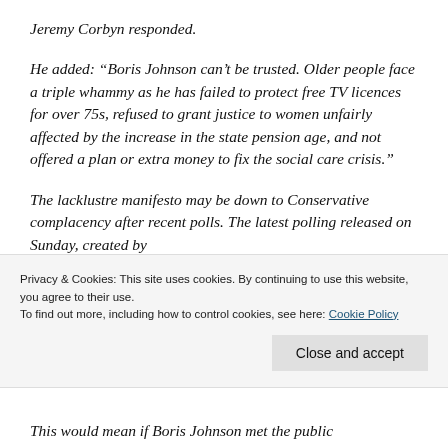Jeremy Corbyn responded.
He added: “Boris Johnson can’t be trusted. Older people face a triple whammy as he has failed to protect free TV licences for over 75s, refused to grant justice to women unfairly affected by the increase in the state pension age, and not offered a plan or extra money to fix the social care crisis.”
The lacklustre manifesto may be down to Conservative complacency after recent polls. The latest polling released on Sunday, created by
Privacy & Cookies: This site uses cookies. By continuing to use this website, you agree to their use. To find out more, including how to control cookies, see here: Cookie Policy
This would mean if Boris Johnson met the public